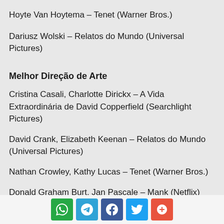Hoyte Van Hoytema – Tenet (Warner Bros.)
Dariusz Wolski – Relatos do Mundo (Universal Pictures)
Melhor Direção de Arte
Cristina Casali, Charlotte Dirickx – A Vida Extraordinária de David Copperfield (Searchlight Pictures)
David Crank, Elizabeth Keenan – Relatos do Mundo (Universal Pictures)
Nathan Crowley, Kathy Lucas – Tenet (Warner Bros.)
Donald Graham Burt, Jan Pascale – Mank (Netflix)